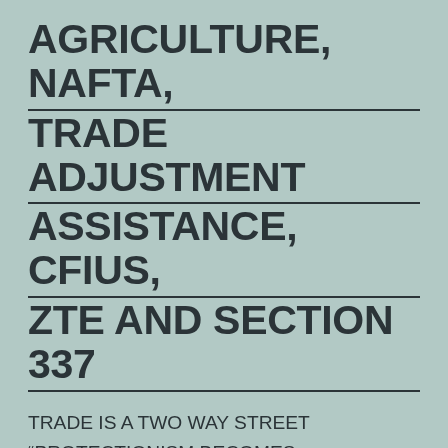AGRICULTURE, NAFTA, TRADE ADJUSTMENT ASSISTANCE, CFIUS, ZTE AND SECTION 337
TRADE IS A TWO WAY STREET "PROTECTIONISM BECOMES DESTRUCTIONISM; IT COSTS JOBS" PRESIDENT RONALD REAGAN, JUNE 28, 1986 US CHINA TRADE WAR UPDATE APRIL 21, 2017—MANY NEW TRADE CASES BEING FILED The Trump trade war has